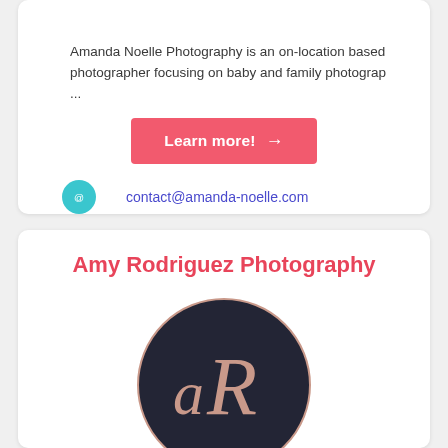Amanda Noelle Photography is an on-location based photographer focusing on baby and family photograp ...
Learn more! →
contact@amanda-noelle.com
Amy Rodriguez Photography
[Figure (logo): Dark navy circular logo with stylized 'aR' monogram in rose gold script lettering for Amy Rodriguez Photography]